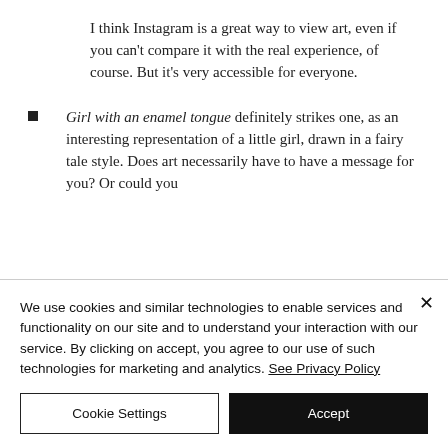I think Instagram is a great way to view art, even if you can't compare it with the real experience, of course. But it's very accessible for everyone.
Girl with an enamel tongue definitely strikes one, as an interesting representation of a little girl, drawn in a fairy tale style. Does art necessarily have to have a message for you? Or could you
We use cookies and similar technologies to enable services and functionality on our site and to understand your interaction with our service. By clicking on accept, you agree to our use of such technologies for marketing and analytics. See Privacy Policy